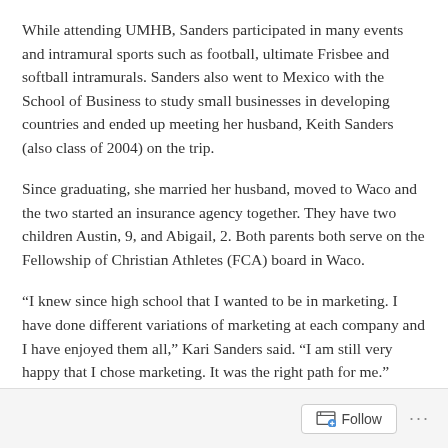While attending UMHB, Sanders participated in many events and intramural sports such as football, ultimate Frisbee and softball intramurals. Sanders also went to Mexico with the School of Business to study small businesses in developing countries and ended up meeting her husband, Keith Sanders (also class of 2004) on the trip.
Since graduating, she married her husband, moved to Waco and the two started an insurance agency together. They have two children Austin, 9, and Abigail, 2. Both parents both serve on the Fellowship of Christian Athletes (FCA) board in Waco.
“I knew since high school that I wanted to be in marketing. I have done different variations of marketing at each company and I have enjoyed them all,” Kari Sanders said. “I am still very happy that I chose marketing. It was the right path for me.”
Follow